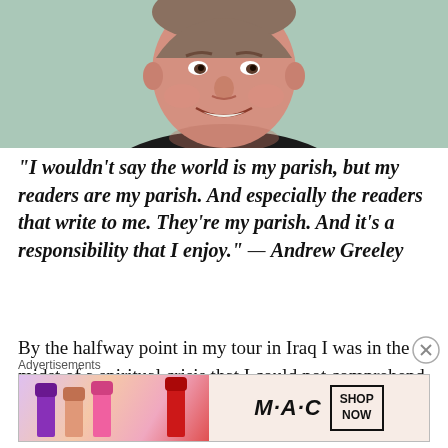[Figure (photo): Portrait photo of a smiling middle-aged man (Andrew Greeley) wearing a black clerical collar, against a light green background]
“I wouldn’t say the world is my parish, but my readers are my parish. And especially the readers that write to me. They’re my parish. And it’s a responsibility that I enjoy.” — Andrew Greeley
By the halfway point in my tour in Iraq I was in the midst of a spiritual crisis that I could not comprehend. Nor would I understand the depths that the crisis would reach.
Advertisements
[Figure (photo): MAC Cosmetics advertisement showing lipsticks and MAC logo with SHOP NOW button]